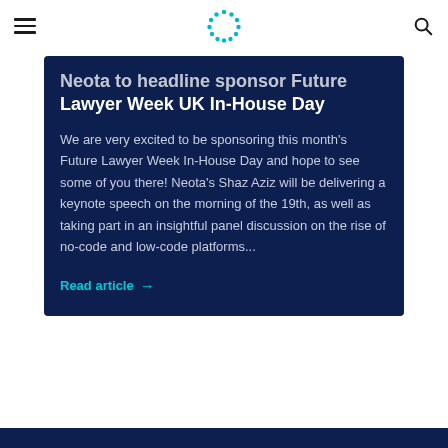Navigation bar with hamburger menu, Neota logo, and search icon
Neota to headline sponsor Future Lawyer Week UK In-House Day
We are very excited to be sponsoring this month's Future Lawyer Week In-House Day and hope to see some of you there! Neota's Shaz Aziz will be delivering a keynote speech on the morning of the 19th, as well as taking part in an insightful panel discussion on the rise of no-code and low-code platforms...
Read article →